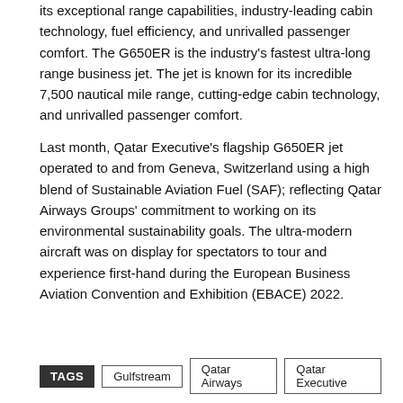its exceptional range capabilities, industry-leading cabin technology, fuel efficiency, and unrivalled passenger comfort. The G650ER is the industry's fastest ultra-long range business jet. The jet is known for its incredible 7,500 nautical mile range, cutting-edge cabin technology, and unrivalled passenger comfort.
Last month, Qatar Executive's flagship G650ER jet operated to and from Geneva, Switzerland using a high blend of Sustainable Aviation Fuel (SAF); reflecting Qatar Airways Groups' commitment to working on its environmental sustainability goals. The ultra-modern aircraft was on display for spectators to tour and experience first-hand during the European Business Aviation Convention and Exhibition (EBACE) 2022.
TAGS  Gulfstream  Qatar Airways  Qatar Executive